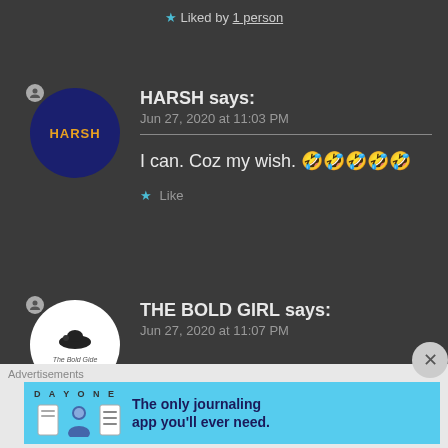★ Liked by 1 person
HARSH says:
Jun 27, 2020 at 11:03 PM
I can. Coz my wish. 🤣🤣🤣🤣🤣
★ Like
THE BOLD GIRL says:
Jun 27, 2020 at 11:07 PM
Advertisements
DAY ONE – The only journaling app you'll ever need.